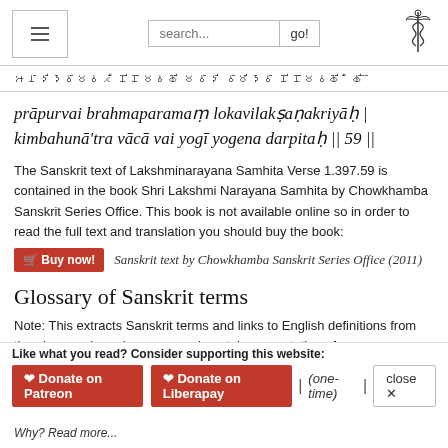Navigation header with hamburger menu, search box, and caduceus logo
𑀆𑀦𑀸𑀤𑀺𑀤𑁂𑀯𑀸𑀫𑀯𑀢𑀻 𑀡𑀺𑀡𑀸𑀫𑀯𑀙𑀺𑁄 𑀫𑀯𑀸𑀤𑀺 𑀯𑀸𑀫𑀺𑀤𑁂𑀯𑀸 𑀡𑀺𑀡𑀸𑀫𑀯𑀙𑀺𑁄 𑀻 𑀙𑀺 𑁄
prāpurvai brahmaparamaṃ lokavilakṣaṇakriyāḥ | kimbahunā'tra vācā vai yogī yogena darpitaḥ || 59 ||
The Sanskrit text of Lakshminarayana Samhita Verse 1.397.59 is contained in the book Shri Lakshmi Narayana Samhita by Chowkhamba Sanskrit Series Office. This book is not available online so in order to read the full text and translation you should buy the book:
Sanskrit text by Chowkhamba Sanskrit Series Office (2011)
Glossary of Sanskrit terms
Note: This extracts Sanskrit terms and links to English definitions from the glossary, based on an experimental segmentation of verse (1.397.59). Some terms could be superfluous while some might not be mentioned. Click on the word to show English
Like what you read? Consider supporting this website:
Donate on Patreon   Donate on Liberapay   | (one-time) |   close ✕
Why? Read more...